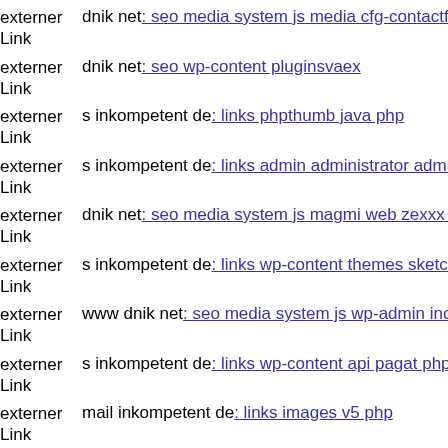externer Link dnik net: seo media system js media cfg-contactform-1 inc
externer Link dnik net: seo wp-content pluginsvaex
externer Link s inkompetent de: links phpthumb java php
externer Link s inkompetent de: links admin administrator administrator c
externer Link dnik net: seo media system js magmi web zexxx php
externer Link s inkompetent de: links wp-content themes sketch dnik net
externer Link www dnik net: seo media system js wp-admin includes wp-
externer Link s inkompetent de: links wp-content api pagat php
externer Link mail inkompetent de: links images v5 php
externer Link s inkompetent de: links wp-content plugins formcraft file-u
externer Link www mail inkompetent de: links administrator components